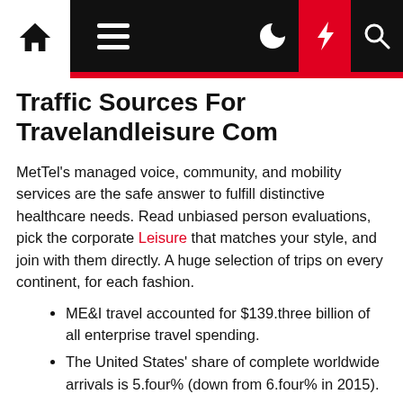Navigation bar with home, menu, dark mode, lightning, and search icons
Traffic Sources For Travelandleisure Com
MetTel's managed voice, community, and mobility services are the safe answer to fulfill distinctive healthcare needs. Read unbiased person evaluations, pick the corporate Leisure that matches your style, and join with them directly. A huge selection of trips on every continent, for each fashion.
ME&I travel accounted for $139.three billion of all enterprise travel spending.
The United States' share of complete worldwide arrivals is 5.four% (down from 6.four% in 2015).